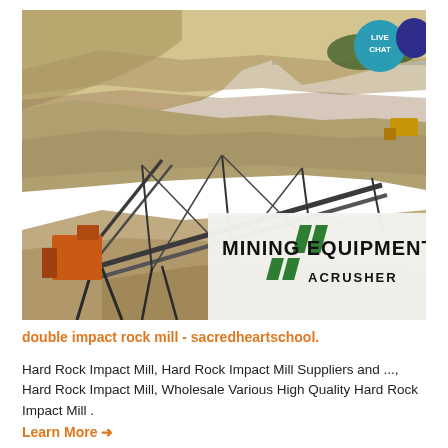[Figure (photo): Open-pit mining quarry with large rock face/cliff in background, industrial conveyor belt equipment and crushing machinery in the foreground. Overlaid with Mining Equipment ACRUSHER branding logo in bottom-right corner, and a teal Live Chat bubble in the top-right corner.]
double impact rock mill - sacredheartschool.
Hard Rock Impact Mill, Hard Rock Impact Mill Suppliers and ..., Hard Rock Impact Mill, Wholesale Various High Quality Hard Rock Impact Mill .
Learn More →